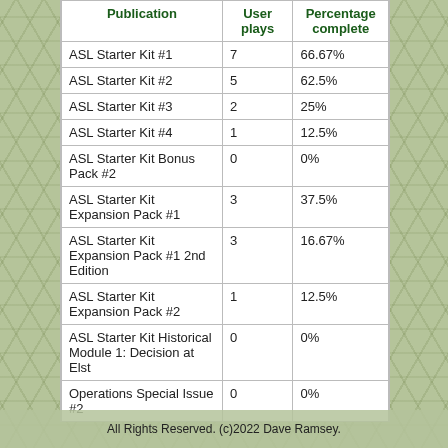| Publication | User plays | Percentage complete |
| --- | --- | --- |
| ASL Starter Kit #1 | 7 | 66.67% |
| ASL Starter Kit #2 | 5 | 62.5% |
| ASL Starter Kit #3 | 2 | 25% |
| ASL Starter Kit #4 | 1 | 12.5% |
| ASL Starter Kit Bonus Pack #2 | 0 | 0% |
| ASL Starter Kit Expansion Pack #1 | 3 | 37.5% |
| ASL Starter Kit Expansion Pack #1 2nd Edition | 3 | 16.67% |
| ASL Starter Kit Expansion Pack #2 | 1 | 12.5% |
| ASL Starter Kit Historical Module 1: Decision at Elst | 0 | 0% |
| Operations Special Issue #2 | 0 | 0% |
All Rights Reserved. (c)2022 Dave Ramsey.